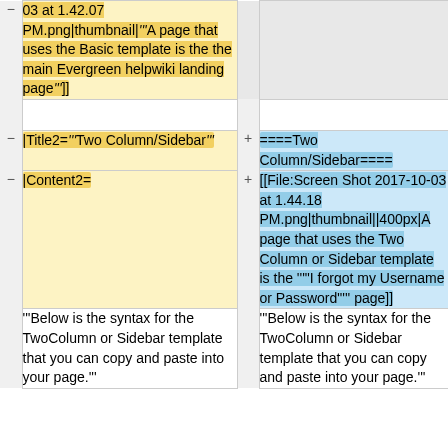| (marker) | Left (removed) | (marker) | Right (added) |
| --- | --- | --- | --- |
| - | 03 at 1.42.07 PM.png|thumbnail|""A page that uses the Basic template is the the main Evergreen helpwiki landing page""]] |  |  |
|  |  |  |  |
| - | |Title2=""Two Column/Sidebar"" | + | ====Two Column/Sidebar==== |
| - | |Content2= | + | [[File:Screen Shot 2017-10-03 at 1.44.18 PM.png|thumbnail||400px|A page that uses the Two Column or Sidebar template is the '"I forgot my Username or Password'" page]] |
|  | ""Below is the syntax for the TwoColumn or Sidebar template that you can copy and paste into your page."" |  | ""Below is the syntax for the TwoColumn or Sidebar template that you can copy and paste into your page."" |